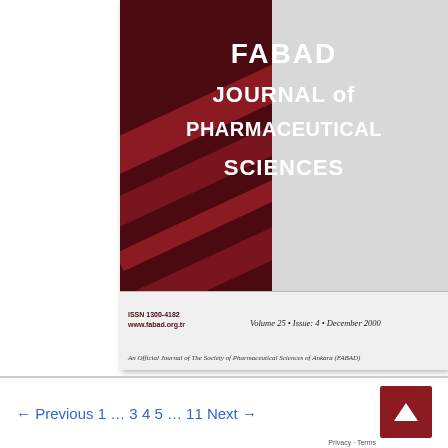[Figure (illustration): Cover of FABAD Journal of Pharmaceutical Sciences, Volume 25, Issue 4, December 2000. Left half is dark maroon with diagonal ribbon decorations; right half is light gray. Large bold white title text reads: FABAD JOURNAL of PHARMACEUTICAL SCIENCES. Bottom strip shows ISSN 1300-4182, www.fabad.org.tr, Volume 25 · Issue: 4 · December 2000, and 'An Official Journal of The Society of Pharmaceutical Sciences of Ankara (FABAD)']
← Previous 1 … 3 4 5 … 11 Next →